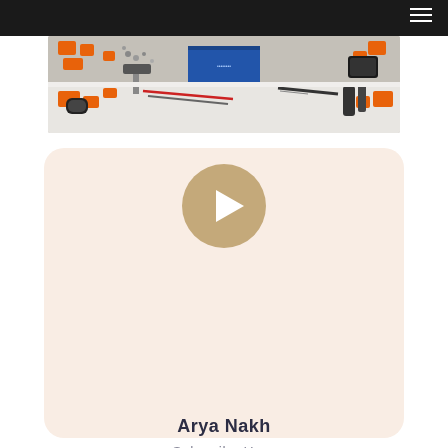[Figure (photo): A workbench with tools including wrenches, hammers, and orange 3D-printed parts, along with a blue box, screwdrivers, and other workshop tools spread across a white surface.]
[Figure (illustration): A card with a light peach/cream background containing a circular play button icon (tan/beige color with white play triangle), the channel name 'Arya Nakh', subtitle 'Subscribe Here', and a thumbs-up icon circle at the bottom.]
Arya Nakh
Subscribe Here